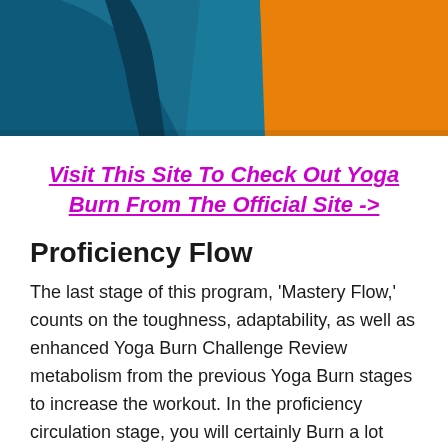[Figure (photo): Partial photo of a person in blue/teal yoga pants against an orange background, cropped at the top showing torso/legs area only.]
Visit This Site To Check Out Yoga Burn From The Official Site ->
Proficiency Flow
The last stage of this program, 'Mastery Flow,' counts on the toughness, adaptability, as well as enhanced Yoga Burn Challenge Review metabolism from the previous Yoga Burn stages to increase the workout. In the proficiency circulation stage, you will certainly Burn a lot more calories, learn